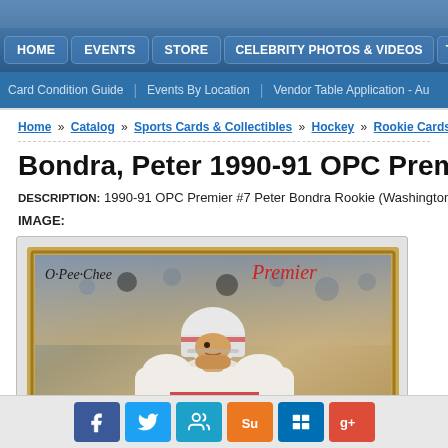HOME | EVENTS | STORE | CELEBRITY PHOTOS & VIDEOS | THE T
Card Condition Guide | Events By Location | Vendor Table Application - Au
Home » Catalog » Sports Cards & Collectibles » Hockey » Rookie Cards »
Bondra, Peter 1990-91 OPC Premi
DESCRIPTION: 1990-91 OPC Premier #7 Peter Bondra Rookie (Washington Cap
IMAGE:
[Figure (photo): O-Pee-Chee Premier hockey card featuring Peter Bondra in Washington Capitals white jersey with helmet, with blurred crowd background. Card has gold/tan border, O-Pee-Chee logo at top left in italics, and Premier script at top right in red.]
Social share buttons: Facebook, Twitter, LinkedIn, StumbleUpon, Digg, Google+